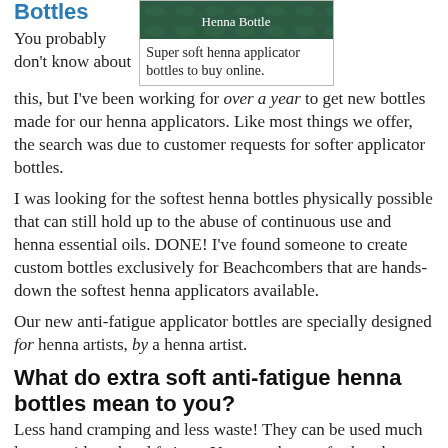Bottles
[Figure (photo): Henna Bottle product image with dark green background and white text 'Henna Bottle']
Super soft henna applicator bottles to buy online.
You probably don't know about this, but I've been working for over a year to get new bottles made for our henna applicators. Like most things we offer, the search was due to customer requests for softer applicator bottles.
I was looking for the softest henna bottles physically possible that can still hold up to the abuse of continuous use and henna essential oils. DONE! I've found someone to create custom bottles exclusively for Beachcombers that are hands-down the softest henna applicators available.
Our new anti-fatigue applicator bottles are specially designed for henna artists, by a henna artist.
What do extra soft anti-fatigue henna bottles mean to you?
Less hand cramping and less waste! They can be used much longer without hand fatigue. You can also get further down before needing to refill the bottle with henna (even in